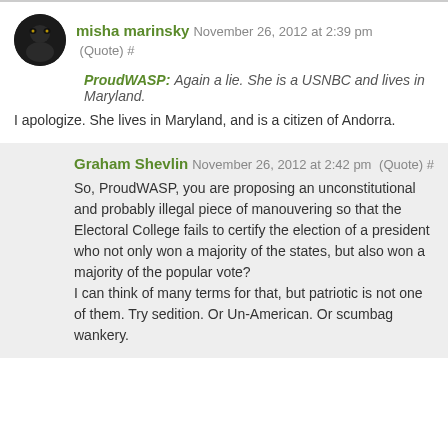misha marinsky November 26, 2012 at 2:39 pm (Quote) # ProudWASP: Again a lie. She is a USNBC and lives in Maryland. I apologize. She lives in Maryland, and is a citizen of Andorra.
Graham Shevlin November 26, 2012 at 2:42 pm (Quote) # So, ProudWASP, you are proposing an unconstitutional and probably illegal piece of manouvering so that the Electoral College fails to certify the election of a president who not only won a majority of the states, but also won a majority of the popular vote? I can think of many terms for that, but patriotic is not one of them. Try sedition. Or Un-American. Or scumbag wankery.